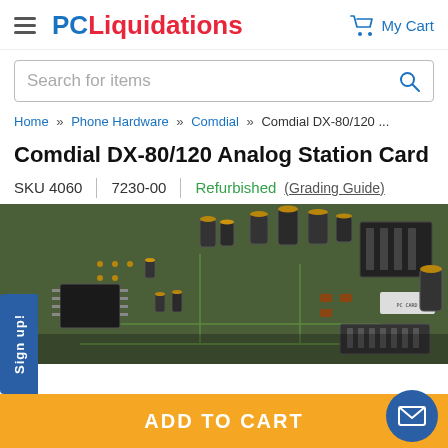PC Liquidations — My Cart
Search for items
Home » Phone Hardware » Comdial » Comdial DX-80/120 ...
Comdial DX-80/120 Analog Station Card
SKU 4060 | 7230-00 | Refurbished (Grading Guide)
[Figure (photo): Close-up photo of a green printed circuit board (PCB) — Comdial DX-80/120 Analog Station Card — showing capacitors, chips, and electronic components]
Sign up!
ADD TO CART